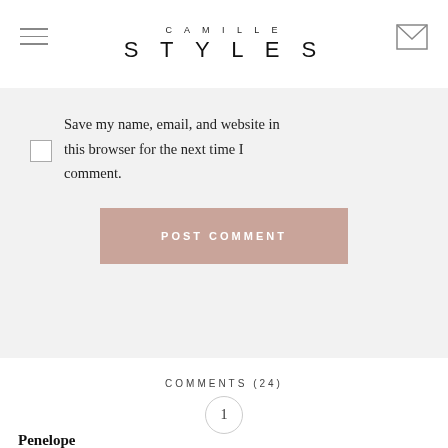CAMILLE STYLES
Save my name, email, and website in this browser for the next time I comment.
POST COMMENT
COMMENTS (24)
1
Penelope
MAY 1, 2014 AT 4:23 PM
Can't decide between the fresh strawberry or the